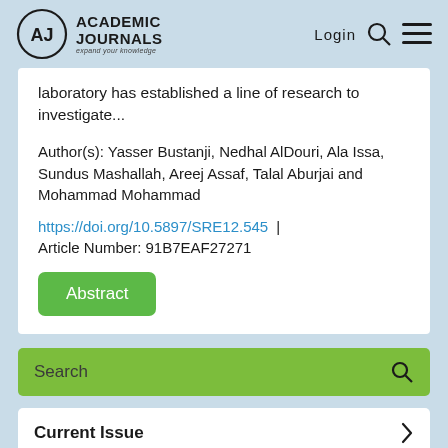Academic Journals — expand your knowledge | Login
laboratory has established a line of research to investigate...
Author(s): Yasser Bustanji, Nedhal AlDouri, Ala Issa, Sundus Mashallah, Areej Assaf, Talal Aburjai and Mohammad Mohammad
https://doi.org/10.5897/SRE12.545 | Article Number: 91B7EAF27271
Abstract
Search
Current Issue